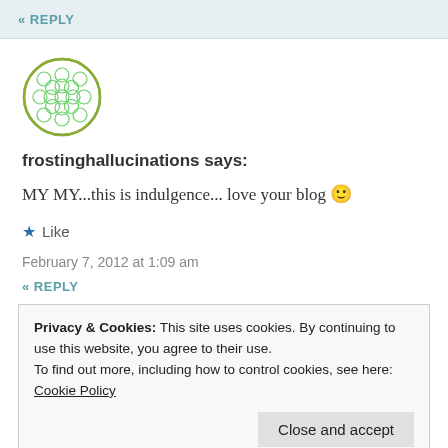« REPLY
[Figure (illustration): Circular avatar with green geometric flower-of-life pattern on white background with olive/green circular border]
frostinghallucinations says:
MY MY...this is indulgence... love your blog 🙂
★ Like
February 7, 2012 at 1:09 am
« REPLY
Privacy & Cookies: This site uses cookies. By continuing to use this website, you agree to their use.
To find out more, including how to control cookies, see here:
Cookie Policy
Close and accept
Haha, it certainly was – thanks for the kind words